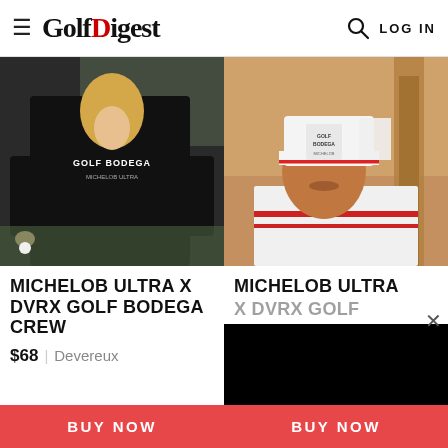Golf Digest | LOG IN
[Figure (photo): Person wearing black Golf Bodega crew sweatshirt on golf course]
[Figure (photo): Person wearing white Michelob Ultra x DVRX Golf Bodega trucker hat]
MICHELOB ULTRA X DVRX GOLF BODEGA CREW
MICHELOB ULTRA
$68 | Devereux
BUY NOW
BUY NOW